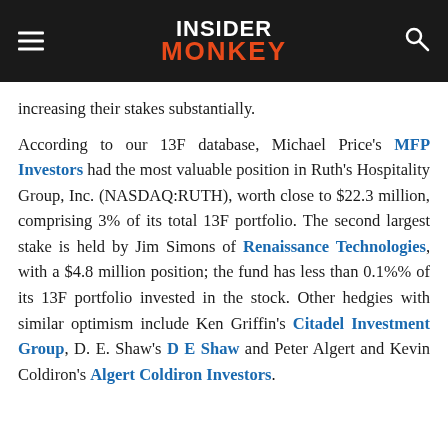INSIDER MONKEY
increasing their stakes substantially.
According to our 13F database, Michael Price's MFP Investors had the most valuable position in Ruth's Hospitality Group, Inc. (NASDAQ:RUTH), worth close to $22.3 million, comprising 3% of its total 13F portfolio. The second largest stake is held by Jim Simons of Renaissance Technologies, with a $4.8 million position; the fund has less than 0.1%% of its 13F portfolio invested in the stock. Other hedgies with similar optimism include Ken Griffin's Citadel Investment Group, D. E. Shaw's D E Shaw and Peter Algert and Kevin Coldiron's Algert Coldiron Investors.